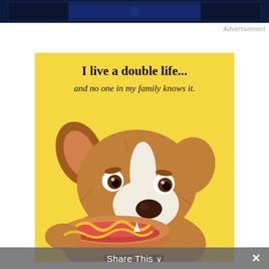[Figure (illustration): Dark blue/navy banner at the top of the page, partially cropped, appears to be an advertisement image header.]
Advertisement
[Figure (illustration): Yellow background illustrated card showing a cartoon dog (terrier mix) holding a hot dog with mustard in its mouth. Text on card reads: 'I live a double life... and no one in my family knows it.']
Share This ∨ ✕